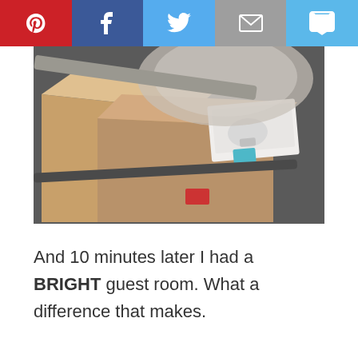[Figure (other): Social sharing toolbar with Pinterest (red), Facebook (dark blue), Twitter (light blue), Email (gray), SMS (light blue) buttons]
[Figure (photo): Cardboard boxes and packaging materials with a light bulb visible in packaging, viewed from above]
And 10 minutes later I had a BRIGHT guest room. What a difference that makes.